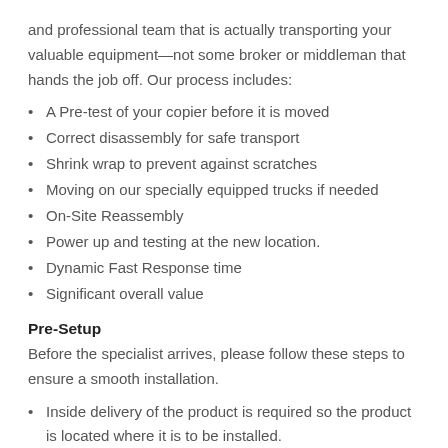and professional team that is actually transporting your valuable equipment—not some broker or middleman that hands the job off. Our process includes:
A Pre-test of your copier before it is moved
Correct disassembly for safe transport
Shrink wrap to prevent against scratches
Moving on our specially equipped trucks if needed
On-Site Reassembly
Power up and testing at the new location.
Dynamic Fast Response time
Significant overall value
Pre-Setup
Before the specialist arrives, please follow these steps to ensure a smooth installation.
Inside delivery of the product is required so the product is located where it is to be installed.